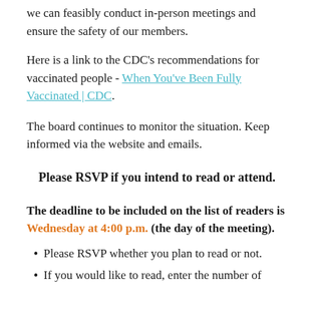we can feasibly conduct in-person meetings and ensure the safety of our members.
Here is a link to the CDC’s recommendations for vaccinated people - When You’ve Been Fully Vaccinated | CDC.
The board continues to monitor the situation. Keep informed via the website and emails.
Please RSVP if you intend to read or attend.
The deadline to be included on the list of readers is Wednesday at 4:00 p.m. (the day of the meeting).
Please RSVP whether you plan to read or not.
If you would like to read, enter the number of